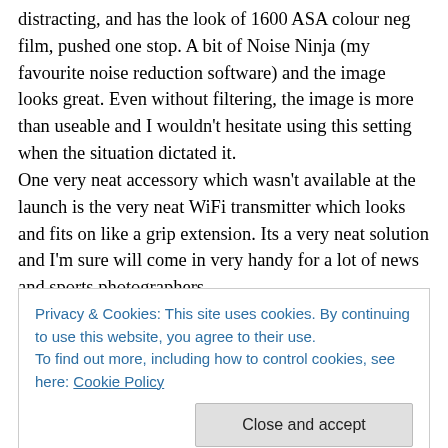distracting, and has the look of 1600 ASA colour neg film, pushed one stop. A bit of Noise Ninja (my favourite noise reduction software) and the image looks great. Even without filtering, the image is more than useable and I wouldn't hesitate using this setting when the situation dictated it.
One very neat accessory which wasn't available at the launch is the very neat WiFi transmitter which looks and fits on like a grip extension. Its a very neat solution and I'm sure will come in very handy for a lot of news and sports photographers.
Privacy & Cookies: This site uses cookies. By continuing to use this website, you agree to their use.
To find out more, including how to control cookies, see here: Cookie Policy
Close and accept
like working in close, and it just wouldn't fit in with my